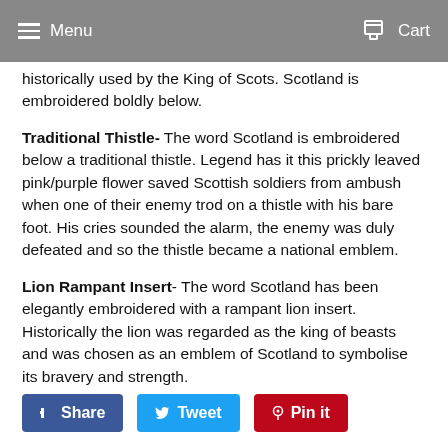Menu  Cart
historically used by the King of Scots. Scotland is embroidered boldly below.
Traditional Thistle- The word Scotland is embroidered below a traditional thistle. Legend has it this prickly leaved pink/purple flower saved Scottish soldiers from ambush when one of their enemy trod on a thistle with his bare foot. His cries sounded the alarm, the enemy was duly defeated and so the thistle became a national emblem.
Lion Rampant Insert- The word Scotland has been elegantly embroidered with a rampant lion insert. Historically the lion was regarded as the king of beasts and was chosen as an emblem of Scotland to symbolise its bravery and strength.
Share  Tweet  Pin it